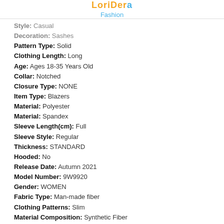LoriDera Fashion
Style: Casual
Decoration: Sashes
Pattern Type: Solid
Clothing Length: Long
Age: Ages 18-35 Years Old
Collar: Notched
Closure Type: NONE
Item Type: Blazers
Material: Polyester
Material: Spandex
Sleeve Length(cm): Full
Sleeve Style: Regular
Thickness: STANDARD
Hooded: No
Release Date: Autumn 2021
Model Number: 9W9920
Gender: WOMEN
Fabric Type: Man-made fiber
Clothing Patterns: Slim
Material Composition: Synthetic Fiber
Fabric content: 31% (inclusive) - 50% (inclusive)